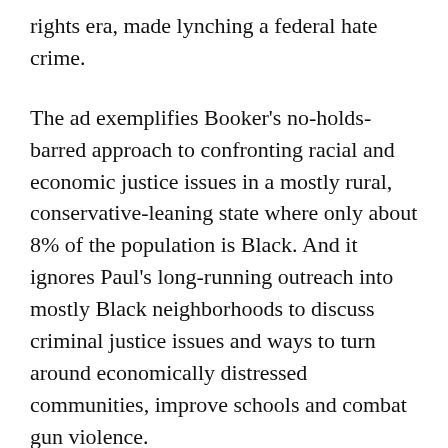rights era, made lynching a federal hate crime.
The ad exemplifies Booker's no-holds-barred approach to confronting racial and economic justice issues in a mostly rural, conservative-leaning state where only about 8% of the population is Black. And it ignores Paul's long-running outreach into mostly Black neighborhoods to discuss criminal justice issues and ways to turn around economically distressed communities, improve schools and combat gun violence.
The libertarian-leaning Paul will face Booker in a November matchup in a state that hasn't elected a Democrat to the Senate since 1992. The ad shows that Booker, the first Black major party nominee for U.S. Senate in Kentucky, won't shy from raising issues that might make some Kentuckians uncomfortable.
Booker's ad zeroes in on Paul's efforts to stall the anti-